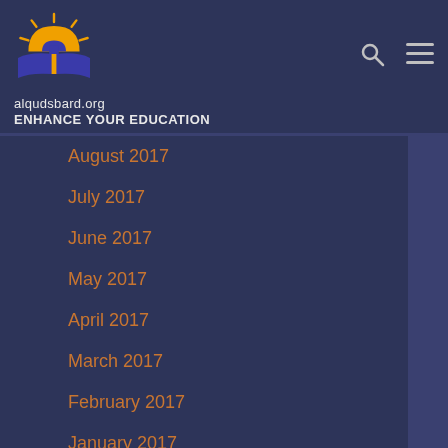[Figure (logo): Al-Quds Bard logo with sun/book motif in blue and orange]
alqudsbard.org
ENHANCE YOUR EDUCATION
August 2017
July 2017
June 2017
May 2017
April 2017
March 2017
February 2017
January 2017
December 2016
November 2016
October 2016